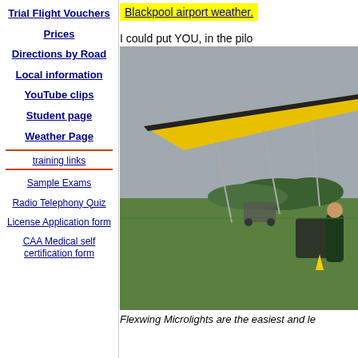Trial Flight Vouchers
Prices
Directions by Road
Local information
YouTube clips
Student page
Weather Page
training links
Sample Exams
Radio Telephony Quiz
License Application form
CAA Medical self certification form
Blackpool airport weather.
I could put YOU, in the pilo
[Figure (photo): A yellow flexwing microlight aircraft on a grass airfield, with a person in a flight suit standing nearby. Trees and hills visible in background.]
Flexwing Microlights are the easiest and le